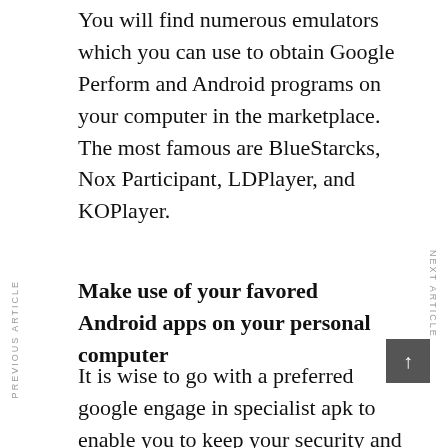You will find numerous emulators which you can use to obtain Google Perform and Android programs on your computer in the marketplace. The most famous are BlueStarcks, Nox Participant, LDPlayer, and KOPlayer.
PREVIOUS ARTICLE
NEXT ARTICLE
Make use of your favored Android apps on your personal computer
It is wise to go with a preferred google engage in specialist apk to enable you to keep your security and personal privacy. At th...